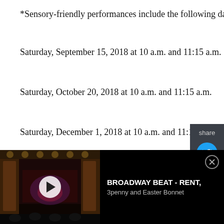*Sensory-friendly performances include the following dates:
Saturday, September 15, 2018 at 10 a.m. and 11:15 a.m.
Saturday, October 20, 2018 at 10 a.m. and 11:15 a.m.
Saturday, December 1, 2018 at 10 a.m. and 11:15 a.m.
Saturday, March 2, 2019 at 10 a.m. and 11:15 a.m.
[Figure (screenshot): Social share panel with Twitter and Facebook icons on dark background]
[Figure (screenshot): Video thumbnail ad: Broadway stage with red curtain, play button. Title: BROADWAY BEAT - RENT, 3penny and Easter Bonnet]